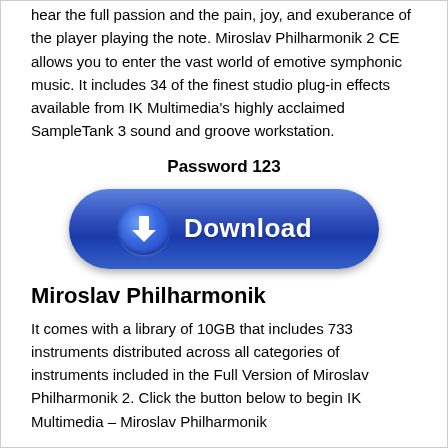hear the full passion and the pain, joy, and exuberance of the player playing the note. Miroslav Philharmonik 2 CE allows you to enter the vast world of emotive symphonic music. It includes 34 of the finest studio plug-in effects available from IK Multimedia's highly acclaimed SampleTank 3 sound and groove workstation.
Password 123
[Figure (other): Blue rounded download button with downward arrow icon and text 'Download']
Miroslav Philharmonik
It comes with a library of 10GB that includes 733 instruments distributed across all categories of instruments included in the Full Version of Miroslav Philharmonik 2. Click the button below to begin IK Multimedia – Miroslav Philharmonik